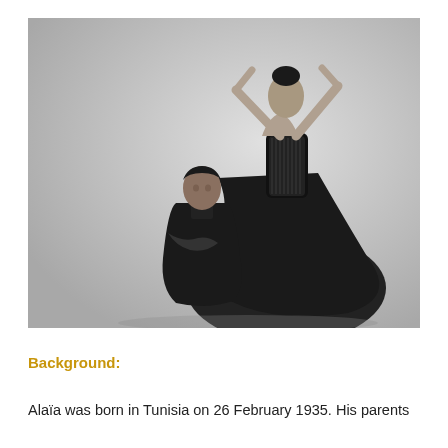[Figure (photo): Black and white photograph of a fashion designer (shorter man in dark clothes with arms crossed) standing next to a tall female model wearing a dramatic black corset top and sweeping long skirt, with her arms raised above her head. The background is a neutral grey gradient.]
Background:
Alaïa was born in Tunisia on 26 February 1935. His parents